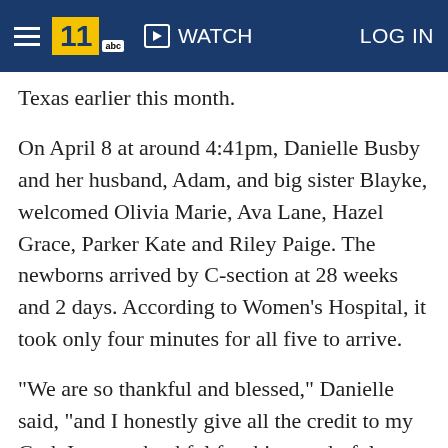WATCH  LOG IN
Texas earlier this month.
On April 8 at around 4:41pm, Danielle Busby and her husband, Adam, and big sister Blayke, welcomed Olivia Marie, Ava Lane, Hazel Grace, Parker Kate and Riley Paige. The newborns arrived by C-section at 28 weeks and 2 days. According to Women's Hospital, it took only four minutes for all five to arrive.
"We are so thankful and blessed," Danielle said, "and I honestly give all the credit to my God. I am so thankful for this wonderful hospital and team of people here, they truly all are amazing."